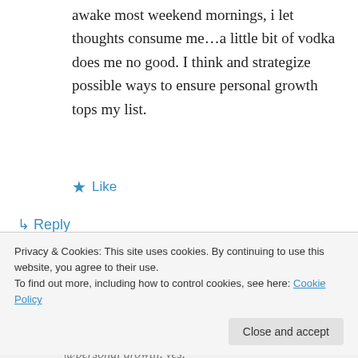awake most weekend mornings, i let thoughts consume me…a little bit of vodka does me no good. I think and strategize possible ways to ensure personal growth tops my list.
★ Like
↳ Reply
livelytwist on March 11, 2015 at 2:23 pm
There's something about this post . . . could
Privacy & Cookies: This site uses cookies. By continuing to use this website, you agree to their use.
To find out more, including how to control cookies, see here: Cookie Policy
Close and accept
@personal growth, yes.